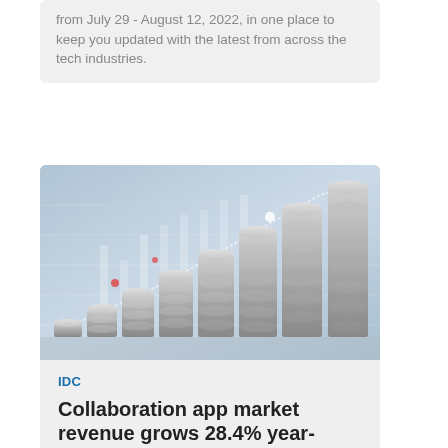from July 29 - August 12, 2022, in one place to keep you updated with the latest from across the tech industries.
[Figure (photo): Stacks of coins growing in height from left to right against a blurred financial chart background with candlestick patterns and grid lines in blue and white tones.]
IDC
Collaboration app market revenue grows 28.4% year-over-year
IDC has found that global revenues in the collaboration applications market grew 28.4% year-over-year in 2021 to